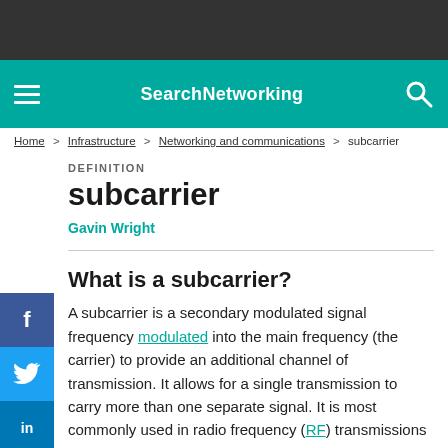SearchNetworking
Home > Infrastructure > Networking and communications > subcarrier
DEFINITION
subcarrier
Gavin Wright
What is a subcarrier?
A subcarrier is a secondary modulated signal frequency modulated into the main frequency (the carrier) to provide an additional channel of transmission. It allows for a single transmission to carry more than one separate signal. It is most commonly used in radio frequency (RF) transmissions but can be